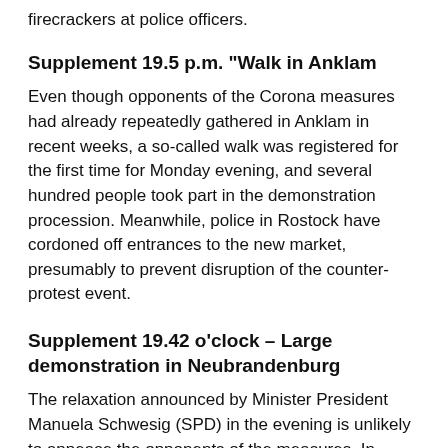firecrackers at police officers.
Supplement 19.5 p.m. "Walk in Anklam
Even though opponents of the Corona measures had already repeatedly gathered in Anklam in recent weeks, a so-called walk was registered for the first time for Monday evening, and several hundred people took part in the demonstration procession. Meanwhile, police in Rostock have cordoned off entrances to the new market, presumably to prevent disruption of the counter-protest event.
Supplement 19.42 o'clock – Large demonstration in Neubrandenburg
The relaxation announced by Minister President Manuela Schwesig (SPD) in the evening is unlikely to appease the opponents of the measures. In Neubrandenburg, police estimate that nearly 2,000 people would have participated in the protest. There were also several hundred in the cities of the Muritz region. According to initial information from the police, there was an incident on the fringes of a